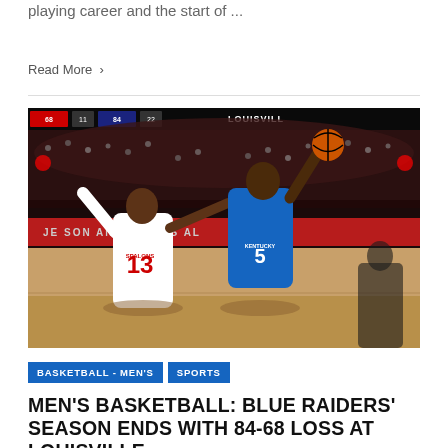playing career and the start of ...
Read More >
[Figure (photo): Basketball game action photo showing a player in blue Kentucky jersey #5 going up for a shot against a Louisville defender #13 (Spalding) in white/red jersey, inside a Louisville arena with red scoreboard showing 'LOUISVILLE' and a red mid-court banner reading 'Jefferson Animal Hospital'. The arena is packed with fans.]
BASKETBALL - MEN'S
SPORTS
MEN'S BASKETBALL: BLUE RAIDERS' SEASON ENDS WITH 84-68 LOSS AT LOUISVILLE